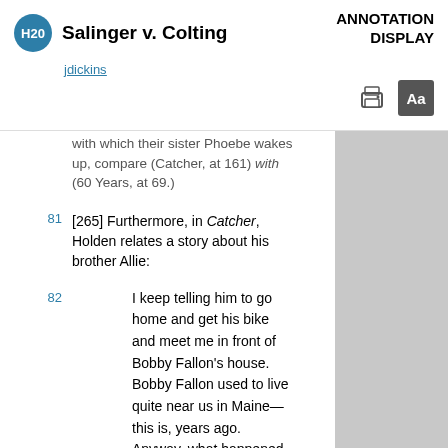Salinger v. Colting | ANNOTATION DISPLAY
jdickins
with which their sister Phoebe wakes up, compare (Catcher, at 161) with (60 Years, at 69.)
81 [265] Furthermore, in Catcher, Holden relates a story about his brother Allie:
82 I keep telling him to go home and get his bike and meet me in front of Bobby Fallon's house. Bobby Fallon used to live quite near us in Maine—this is, years ago. Anyway, what happened